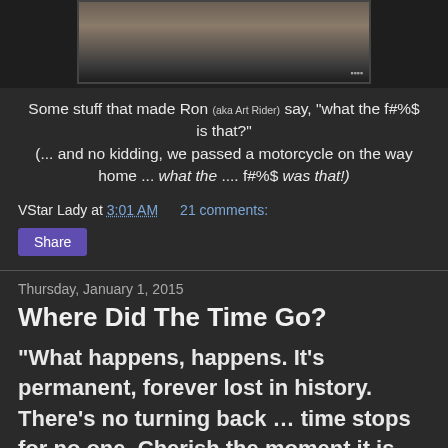[Figure (photo): Partial photo of a motorcycle or vehicle on the ground, partially cropped at top]
Some stuff that made Ron (aka Art Rider) say, "what the f#%$ is that?"
(... and no kidding, we passed a motorcycle on the way home ... what the .... f#%$ was that!)
VStar Lady at 3:01 AM    21 comments:
Share
Thursday, January 1, 2015
Where Did The Time Go?
“What happens, happens. It's permanent, forever lost in history. There's no turning back … time stops for no one. Cherish the moment it is passing by at the speed of life”